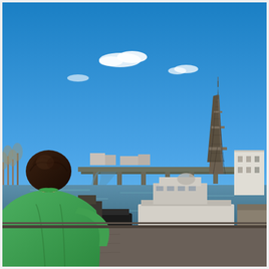[Figure (photo): A boy wearing a green t-shirt seen from behind, looking out over the Seine River in Paris. In the background are several houseboats and barges moored along the river, a large bridge (Pont de Bir-Hakeim) spanning the river, and the Eiffel Tower rising prominently on the right side against a bright blue sky with a few white clouds. Trees are visible on the left bank.]